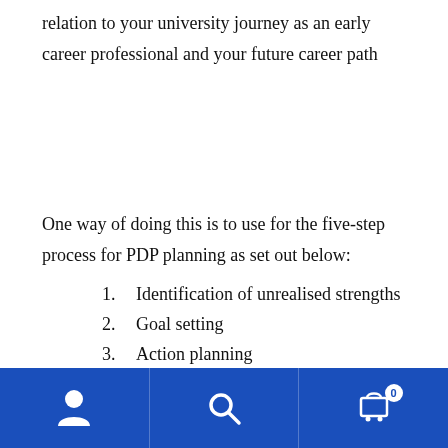relation to your university journey as an early career professional and your future career path
One way of doing this is to use for the five-step process for PDP planning as set out below:
1. Identification of unrealised strengths
2. Goal setting
3. Action planning
4. Implementation / action (you will
[Figure (other): Blue navigation toolbar with person icon, search icon, and shopping cart icon with badge showing 0]